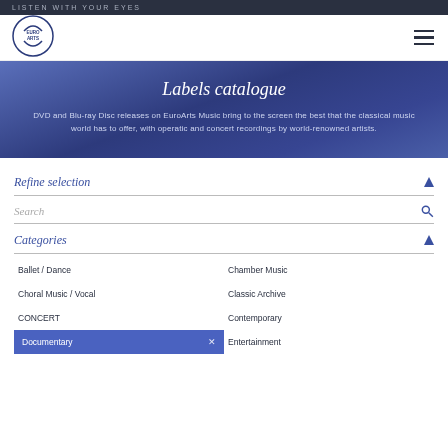LISTEN WITH YOUR EYES
[Figure (logo): EuroArts circular logo with text]
Labels catalogue
DVD and Blu-ray Disc releases on EuroArts Music bring to the screen the best that the classical music world has to offer, with operatic and concert recordings by world-renowned artists.
Refine selection
Search
Categories
Ballet / Dance
Chamber Music
Choral Music / Vocal
Classic Archive
CONCERT
Contemporary
Documentary
Entertainment